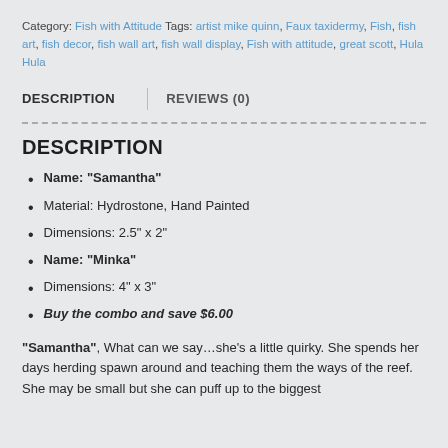Category: Fish with Attitude Tags: artist mike quinn, Faux taxidermy, Fish, fish art, fish decor, fish wall art, fish wall display, Fish with attitude, great scott, Hula Hula
DESCRIPTION
REVIEWS (0)
DESCRIPTION
Name: "Samantha"
Material: Hydrostone, Hand Painted
Dimensions: 2.5" x 2"
Name: "Minka"
Dimensions: 4" x 3"
Buy the combo and save $6.00
"Samantha", What can we say…she's a little quirky. She spends her days herding spawn around and teaching them the ways of the reef. She may be small but she can puff up to the biggest